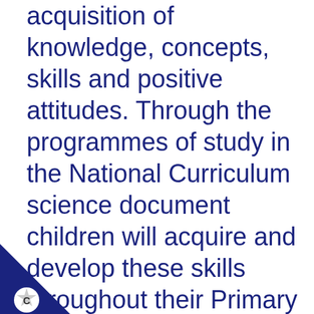acquisition of knowledge, concepts, skills and positive attitudes. Through the programmes of study in the National Curriculum science document children will acquire and develop these skills throughout their Primary years.

We believe that science promotes communication in a specific and precise language involving mathematical and logical thinking. It allows children to develop ways of thinking. It allows children to develop ways of finding out
[Figure (logo): Dark blue triangle in bottom-left corner with a white star/badge shape containing the letter C]